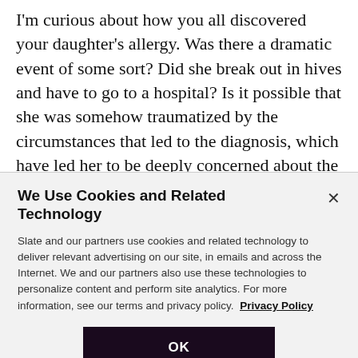I'm curious about how you all discovered your daughter's allergy. Was there a dramatic event of some sort? Did she break out in hives and have to go to a hospital? Is it possible that she was somehow traumatized by the circumstances that led to the diagnosis, which have led her to be deeply concerned about the possibility of experiencing them—or something worse—in the future?
We Use Cookies and Related Technology
Slate and our partners use cookies and related technology to deliver relevant advertising on our site, in emails and across the Internet. We and our partners also use these technologies to personalize content and perform site analytics. For more information, see our terms and privacy policy.  Privacy Policy
OK